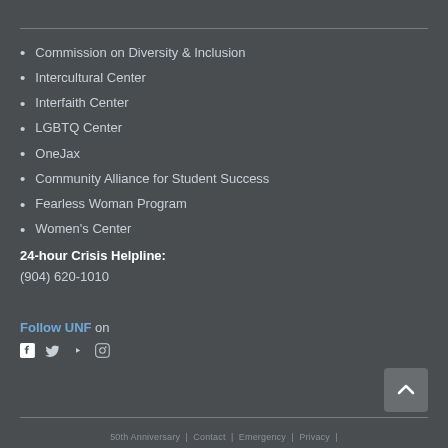Commission on Diversity & Inclusion
Intercultural Center
Interfaith Center
LGBTQ Center
OneJax
Community Alliance for Student Success
Fearless Woman Program
Women's Center
24-hour Crisis Helpline:
(904) 620-1010
Follow UNF on
[Figure (other): Social media icons for Facebook, Twitter, YouTube, and Instagram]
50th Anniversary | Contact | Emergency | Privacy |